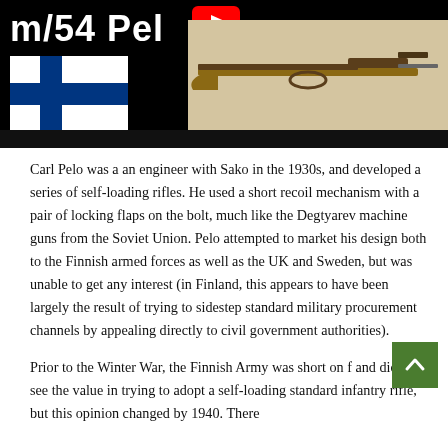[Figure (screenshot): Video thumbnail with title 'm/54 Pelo' in white bold text on black background, YouTube play button icon, Finnish flag, and a rifle on a light background. Black bar at bottom.]
Carl Pelo was a an engineer with Sako in the 1930s, and developed a series of self-loading rifles. He used a short recoil mechanism with a pair of locking flaps on the bolt, much like the Degtyarev machine guns from the Soviet Union. Pelo attempted to market his design both to the Finnish armed forces as well as the UK and Sweden, but was unable to get any interest (in Finland, this appears to have been largely the result of trying to sidestep standard military procurement channels by appealing directly to civil government authorities).
Prior to the Winter War, the Finnish Army was short on f and did not see the value in trying to adopt a self-loading standard infantry rifle, but this opinion changed by 1940. There